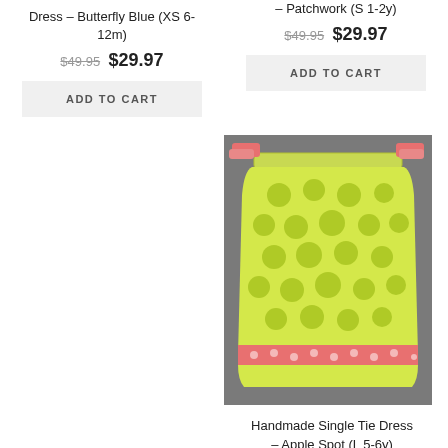Dress – Butterfly Blue (XS 6-12m)
$49.95  $29.97
ADD TO CART
- Patchwork (S 1-2y)
$49.95  $29.97
ADD TO CART
[Figure (photo): A handmade pillowcase-style dress in lime green with apple/circle pattern fabric and pink polka dot trim at hem and ties, displayed on a dark textured background.]
Handmade Single Tie Dress - Apple Spot (L 5-6y)
$49.95  $29.97